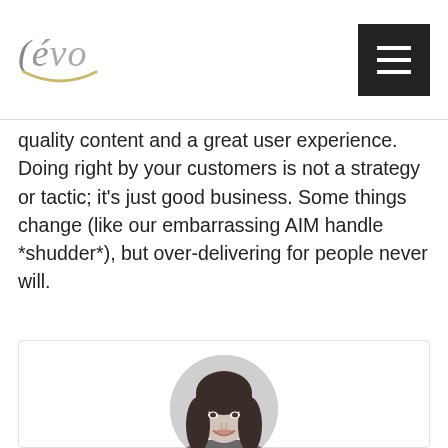[Figure (logo): Evo logo with stylized text '(évo' in gray italic serif font and a curved smile underline in gold/tan]
[Figure (screenshot): Black hamburger menu button (three white horizontal lines on dark background)]
quality content and a great user experience. Doing right by your customers is not a strategy or tactic; it's just good business. Some things change (like our embarrassing AIM handle *shudder*), but over-delivering for people never will.
[Figure (photo): Circular black and white portrait photo of Anya Sleezer, a woman with bangs and shoulder-length hair, smiling]
Anya Sleezer